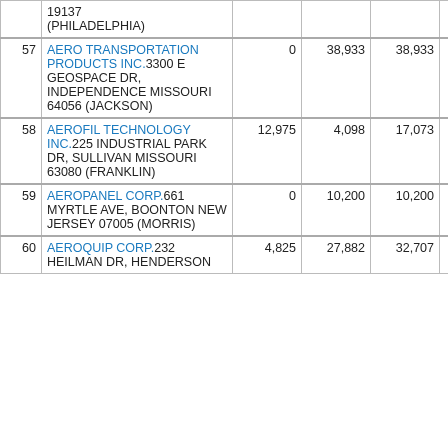| # | Name/Address | Col3 | Col4 | Col5 | Col6 | Col7 |
| --- | --- | --- | --- | --- | --- | --- |
|  | 19137 (PHILADELPHIA) |  |  |  |  |  |
| 57 | AERO TRANSPORTATION PRODUCTS INC.3300 E GEOSPACE DR, INDEPENDENCE MISSOURI 64056 (JACKSON) | 0 | 38,933 | 38,933 | 0 |  |
| 58 | AEROFIL TECHNOLOGY INC.225 INDUSTRIAL PARK DR, SULLIVAN MISSOURI 63080 (FRANKLIN) | 12,975 | 4,098 | 17,073 | 0 |  |
| 59 | AEROPANEL CORP.661 MYRTLE AVE, BOONTON NEW JERSEY 07005 (MORRIS) | 0 | 10,200 | 10,200 | 0 |  |
| 60 | AEROQUIP CORP.232 HEILMAN DR, HENDERSON | 4,825 | 27,882 | 32,707 | 0 |  |